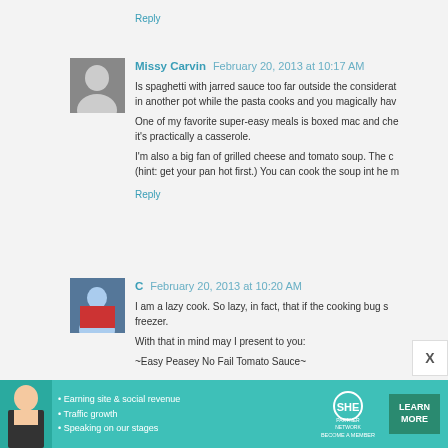Reply
Missy Carvin  February 20, 2013 at 10:17 AM
Is spaghetti with jarred sauce too far outside the consideration? You heat the sauce in another pot while the pasta cooks and you magically have dinner.
One of my favorite super-easy meals is boxed mac and cheese — it's practically a casserole.
I'm also a big fan of grilled cheese and tomato soup. The grilled cheese tip: (hint: get your pan hot first.) You can cook the soup int he m...
Reply
C  February 20, 2013 at 10:20 AM
I am a lazy cook. So lazy, in fact, that if the cooking bug s... freezer.
With that in mind may I present to you:
~Easy Peasey No Fail Tomato Sauce~
[Figure (infographic): Advertisement banner for SHE Partner Network with a woman, bullet points about earning site & social revenue, traffic growth, speaking on stages, SHE logo, and a LEARN MORE button.]